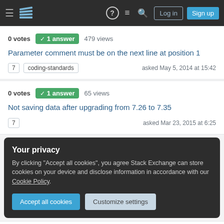Stack Exchange navigation bar with logo, help, chat, search, Log in, Sign up buttons
0 votes  1 answer  479 views
Parameter comment must be on the next line at position 1
7  coding-standards  asked May 5, 2014 at 15:42
0 votes  1 answer  65 views
Not saving data after upgrading from 7.26 to 7.35
7  asked Mar 23, 2015 at 6:25
Your privacy
By clicking "Accept all cookies", you agree Stack Exchange can store cookies on your device and disclose information in accordance with our Cookie Policy.
Accept all cookies  Customize settings
0 votes  1 answer  2k views